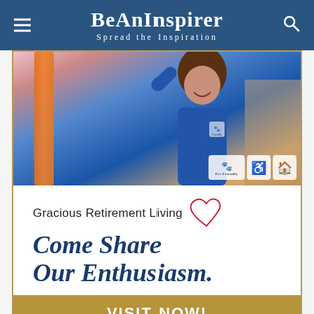BeAnInspirer
Spread the Inspiration
[Figure (photo): A smiling woman in a blue uniform reaches upward in what appears to be a retirement living facility. Orange fabric and colorful elements are visible. Accessibility icons (pet friendly, wheelchair, home) appear in the bottom right of the photo.]
Gracious Retirement Living
Come Share Our Enthusiasm.
VISIT NOW!